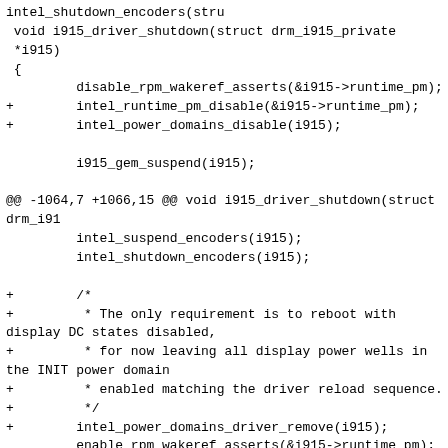intel_shutdown_encoders(stru
 void i915_driver_shutdown(struct drm_i915_private
 *i915)
 {
         disable_rpm_wakeref_asserts(&i915->runtime_pm);
+        intel_runtime_pm_disable(&i915->runtime_pm);
+        intel_power_domains_disable(i915);

         i915_gem_suspend(i915);

@@ -1064,7 +1066,15 @@ void i915_driver_shutdown(struct drm_i91
         intel_suspend_encoders(i915);
         intel_shutdown_encoders(i915);

+        /*
+         * The only requirement is to reboot with display DC states disabled,
+         * for now leaving all display power wells in the INIT power domain
+         * enabled matching the driver reload sequence.
+         */
+        intel_power_domains_driver_remove(i915);
         enable_rpm_wakeref_asserts(&i915->runtime_pm);
+
+        intel_runtime_pm_driver_release(&i915-
>runtime_pm);
 }

 static bool suspend_to_idle(struct drm_i915_private